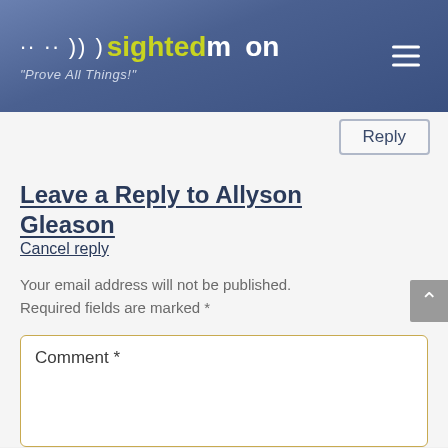[Figure (logo): Sighted Moon website logo with moon phase dots, text 'sightedmoon' and tagline 'Prove All Things!']
Reply
Leave a Reply to Allyson Gleason
Cancel reply
Your email address will not be published. Required fields are marked *
Comment *